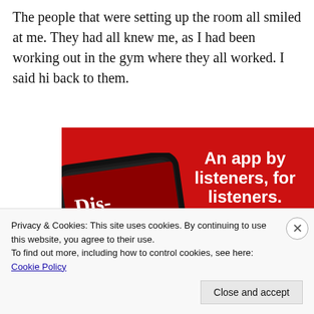The people that were setting up the room all smiled at me. They had all knew me, as I had been working out in the gym where they all worked. I said hi back to them.
[Figure (screenshot): Advertisement for a podcast app. Red background with a smartphone showing a podcast app playing 'Dis-tri-buted'. Text reads 'An app by listeners, for listeners.' with a dark red 'Download now' button.]
Privacy & Cookies: This site uses cookies. By continuing to use this website, you agree to their use.
To find out more, including how to control cookies, see here: Cookie Policy
Close and accept